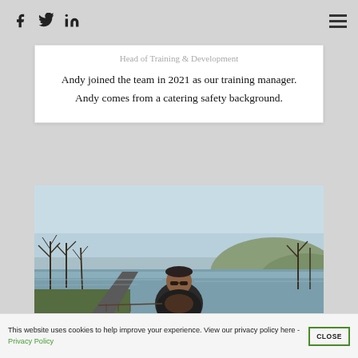Facebook Twitter LinkedIn [hamburger menu]
Head of Training & Development
Andy joined the team in 2021 as our training manager. Andy comes from a catering safety background.
[Figure (photo): Outdoor photo of a man wearing sunglasses and a dark jacket with fur trim, standing near a lake or loch with hills in the background and bare trees lining a road]
This website uses cookies to help improve your experience. View our privacy policy here - Privacy Policy
CLOSE